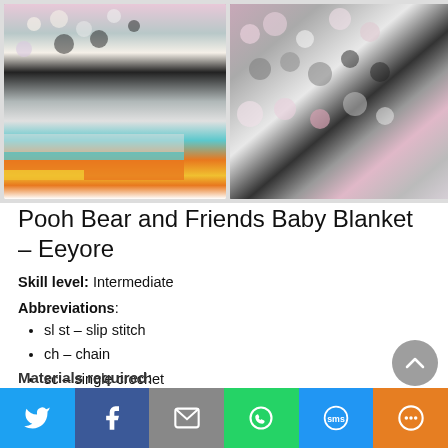[Figure (photo): Two crochet blanket photos side by side. Left: colorful C2C crochet with Pooh characters in pink, teal, orange, yellow on grey background. Right: close-up of grey, pink, black, and white crochet texture.]
Pooh Bear and Friends Baby Blanket – Eeyore
Skill level: Intermediate
Abbreviations:
sl st – slip stitch
ch – chain
sc – single crochet
dc – double crochet
Materials required:
[Figure (other): Social sharing toolbar with Twitter, Facebook, Email, WhatsApp, SMS, and More buttons]